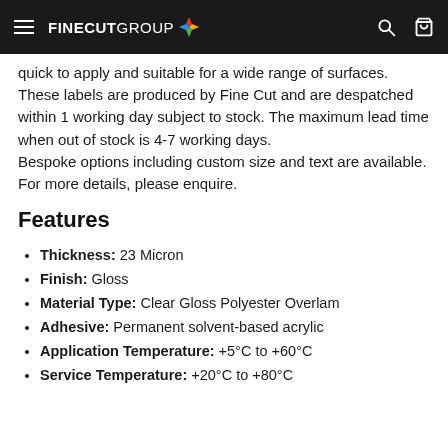FINECUT GROUP
quick to apply and suitable for a wide range of surfaces. These labels are produced by Fine Cut and are despatched within 1 working day subject to stock. The maximum lead time when out of stock is 4-7 working days.
Bespoke options including custom size and text are available. For more details, please enquire.
Features
Thickness: 23 Micron
Finish: Gloss
Material Type: Clear Gloss Polyester Overlam
Adhesive: Permanent solvent-based acrylic
Application Temperature: +5°C to +60°C
Service Temperature: +20°C to +80°C